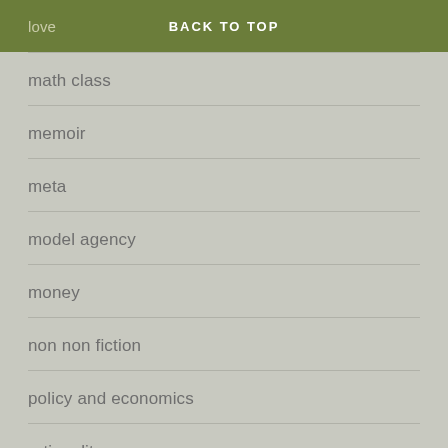love  BACK TO TOP
math class
memoir
meta
model agency
money
non non fiction
policy and economics
rationality